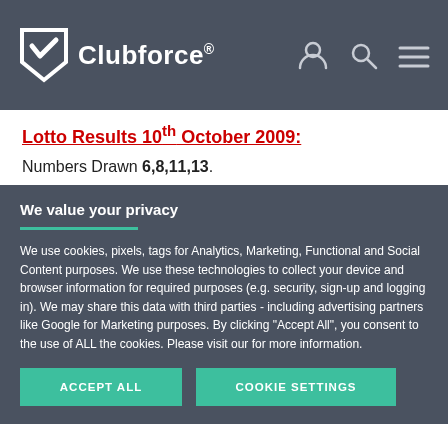Clubforce®
Lotto Results 10th October 2009:
Numbers Drawn 6,8,11,13.
No Jackpot Winner
6 €25 Lucky Dip Winners:
We value your privacy
We use cookies, pixels, tags for Analytics, Marketing, Functional and Social Content purposes. We use these technologies to collect your device and browser information for required purposes (e.g. security, sign-up and logging in). We may share this data with third parties - including advertising partners like Google for Marketing purposes. By clicking "Accept All", you consent to the use of ALL the cookies. Please visit our for more information.
ACCEPT ALL
COOKIE SETTINGS